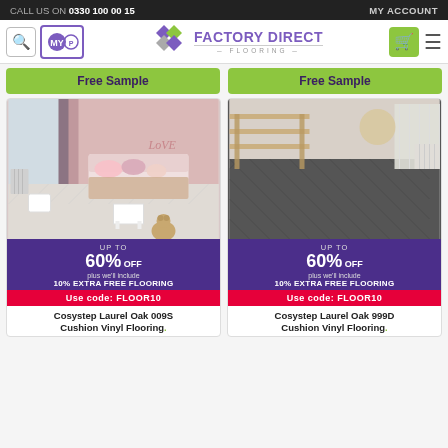CALL US ON 0330 100 00 15 | MY ACCOUNT
[Figure (logo): Factory Direct Flooring logo with diamond shapes in purple and grey, and green/grey diamond motif]
Free Sample | Free Sample
[Figure (photo): Pink children's bedroom with light herringbone vinyl flooring, bed with cushions, teddy bear on floor]
UP TO 60% OFF plus we'll include 10% EXTRA FREE FLOORING Use code: FLOOR10
Cosystep Laurel Oak 009S Cushion Vinyl Flooring.
[Figure (photo): Room with wooden furniture and dark herringbone pattern vinyl flooring]
UP TO 60% OFF plus we'll include 10% EXTRA FREE FLOORING Use code: FLOOR10
Cosystep Laurel Oak 999D Cushion Vinyl Flooring.